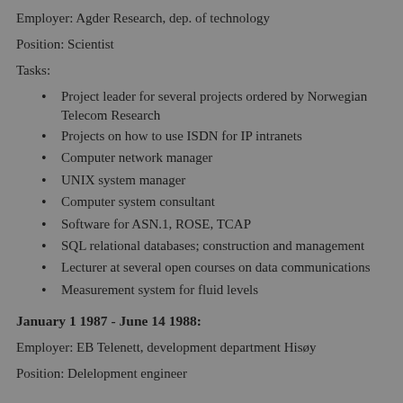Employer: Agder Research, dep. of technology
Position: Scientist
Tasks:
Project leader for several projects ordered by Norwegian Telecom Research
Projects on how to use ISDN for IP intranets
Computer network manager
UNIX system manager
Computer system consultant
Software for ASN.1, ROSE, TCAP
SQL relational databases; construction and management
Lecturer at several open courses on data communications
Measurement system for fluid levels
January 1 1987 - June 14 1988:
Employer: EB Telenett, development department Hisøy
Position: Delelopment engineer